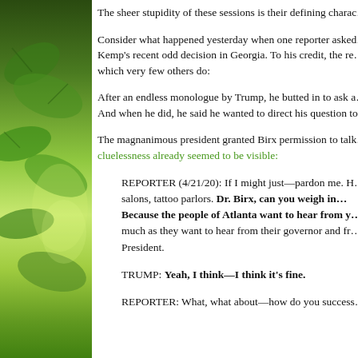The sheer stupidity of these sessions is their defining chara...
Consider what happened yesterday when one reporter asked... Kemp's recent odd decision in Georgia. To his credit, the re... which very few others do:
After an endless monologue by Trump, he butted in to ask a... And when he did, he said he wanted to direct his question to...
The magnanimous president granted Birx permission to talk... cluelessness already seemed to be visible:
REPORTER (4/21/20): If I might just—pardon me. H... nail salons, tattoo parlors. Dr. Birx, can you weigh in... Because the people of Atlanta want to hear from y... much as they want to hear from their governor and fr... President.
TRUMP: Yeah, I think—I think it's fine.
REPORTER: What, what about—how do you success...